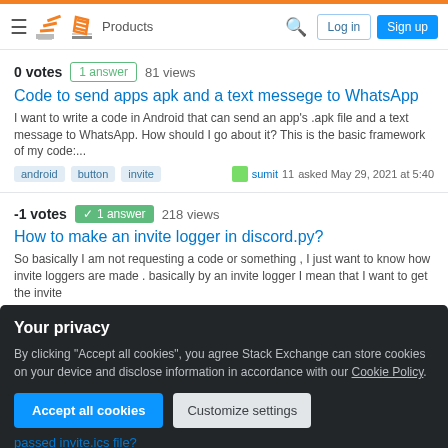Stack Overflow — Products | Log in | Sign up
0 votes 1 answer 81 views
Code to send apps apk and a text messege to WhatsApp
I want to write a code in Android that can send an app's .apk file and a text message to WhatsApp. How should I go about it? This is the basic framework of my code:...
android  button  invite — sumit 11 asked May 29, 2021 at 5:40
-1 votes 1 answer 218 views
How to make an invite logger in discord.py?
So basically I am not requesting a code or something , I just want to know how invite loggers are made . basically by an invite logger I mean that I want to get the invite
Your privacy
By clicking "Accept all cookies", you agree Stack Exchange can store cookies on your device and disclose information in accordance with our Cookie Policy.
Accept all cookies  Customize settings
passed invite.ics file?